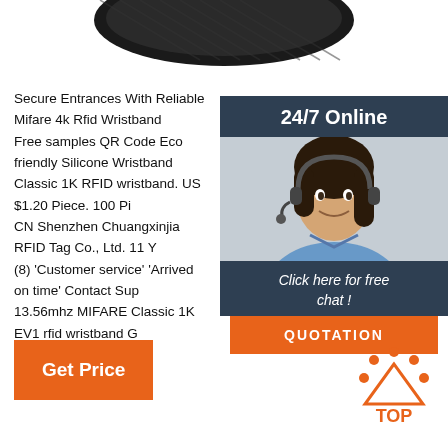[Figure (photo): Dark RFID wristband product image, partially visible at top of page]
Secure Entrances With Reliable Mifare 4k Rfid Wristband Free samples QR Code Eco friendly Silicone Wristband Classic 1K RFID wristband. US $1.20 Piece. 100 Pi CN Shenzhen Chuangxinjia RFID Tag Co., Ltd. 11 Y (8) 'Customer service' 'Arrived on time' Contact Sup 13.56mhz MIFARE Classic 1K EV1 rfid wristband G Control nfc wristband ISO14443A ...
[Figure (photo): 24/7 Online customer service widget with photo of smiling woman with headset, dark blue background, 'Click here for free chat!' text, and orange QUOTATION button]
Get Price
[Figure (logo): Orange TOP button logo with dots arranged in triangle/arc pattern above the word TOP]